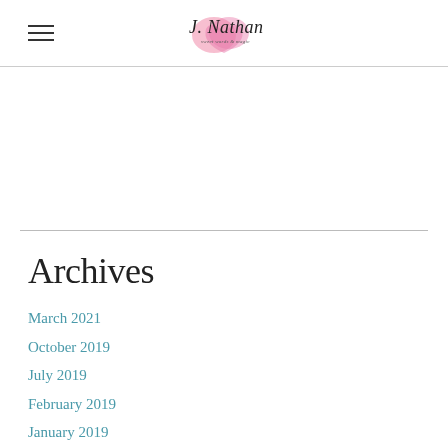J. Nathan — logo with hamburger menu
[Figure (logo): J. Nathan script logo with pink watercolor heart shape]
Archives
March 2021
October 2019
July 2019
February 2019
January 2019